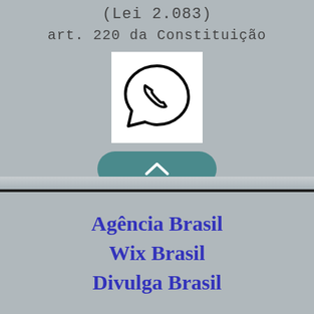(Lei 2.083)
art. 220 da Constituição
[Figure (logo): WhatsApp logo icon — phone handset inside a speech bubble, black outline on white background]
[Figure (other): Teal/dark cyan rounded rectangle button with a white upward chevron (^) arrow]
Agência Brasil
Wix Brasil
Divulga Brasil